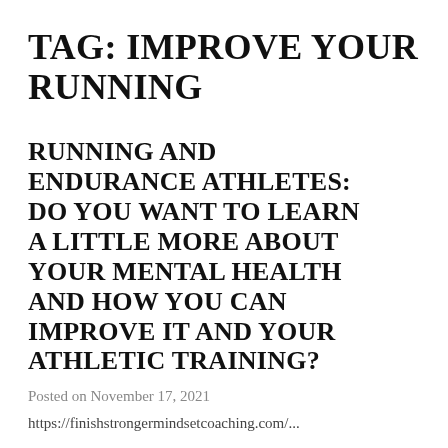TAG: IMPROVE YOUR RUNNING
RUNNING AND ENDURANCE ATHLETES: DO YOU WANT TO LEARN A LITTLE MORE ABOUT YOUR MENTAL HEALTH AND HOW YOU CAN IMPROVE IT AND YOUR ATHLETIC TRAINING?
Posted on November 17, 2021
https://finishstrongermindsetcoaching.com/...